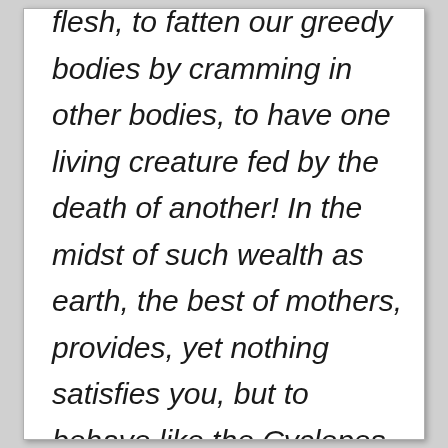flesh, to fatten our greedy bodies by cramming in other bodies, to have one living creature fed by the death of another! In the midst of such wealth as earth, the best of mothers, provides, yet nothing satisfies you, but to behave like the Cyclopes, inflicting sorry wounds with cruel teeth! You cannot